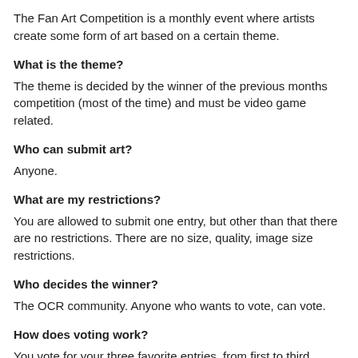The Fan Art Competition is a monthly event where artists create some form of art based on a certain theme.
What is the theme?
The theme is decided by the winner of the previous months competition (most of the time) and must be video game related.
Who can submit art?
Anyone.
What are my restrictions?
You are allowed to submit one entry, but other than that there are no restrictions. There are no size, quality, image size restrictions.
Who decides the winner?
The OCR community. Anyone who wants to vote, can vote.
How does voting work?
You vote for your three favorite entries, from first to third. These entries